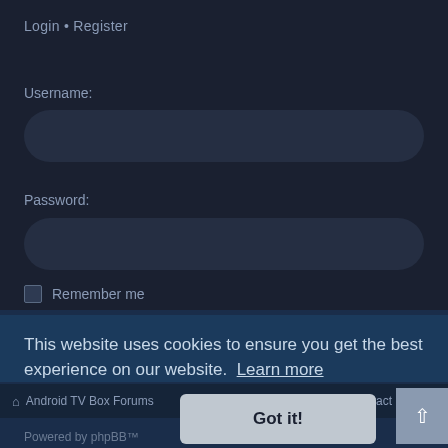Login · Register
Username:
[Figure (screenshot): Username input field - rounded rectangle dark input box]
Password:
[Figure (screenshot): Password input field - rounded rectangle dark input box]
Remember me
Login
This website uses cookies to ensure you get the best experience on our website. Learn more
Android TV Box Forums
Contact us
Got it!
Powered by phpBB™